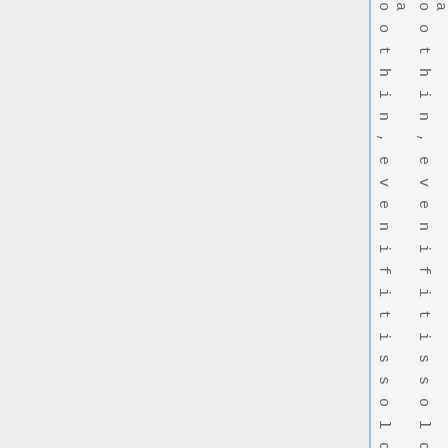oothin,evenifitissold a
oothin,evenifitissold a